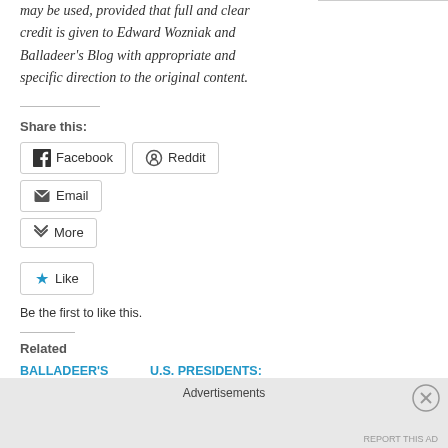may be used, provided that full and clear credit is given to Edward Wozniak and Balladeer's Blog with appropriate and specific direction to the original content.
Share this:
[Figure (screenshot): Social share buttons: Facebook, Reddit, Email, More]
[Figure (screenshot): Like button with star icon and 'Be the first to like this.' text]
Be the first to like this.
Related
BALLADEER'S
U.S. PRESIDENTS:
Advertisements